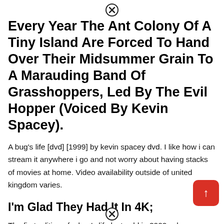[Figure (other): Close/dismiss button (X icon) at top center of page]
Every Year The Ant Colony Of A Tiny Island Are Forced To Hand Over Their Midsummer Grain To A Marauding Band Of Grasshoppers, Led By The Evil Hopper (Voiced By Kevin Spacey).
A bug's life [dvd] [1999] by kevin spacey dvd. I like how i can stream it anywhere i go and not worry about having stacks of movies at home. Video availability outside of united kingdom varies.
I'm Glad They Had It In 4K;
[Figure (other): Scroll-to-top button (red rounded square with up arrow) at bottom right]
The first edition of a bug's life last sold in 2000, when
[Figure (other): Close/dismiss button (X icon) at bottom center of page]